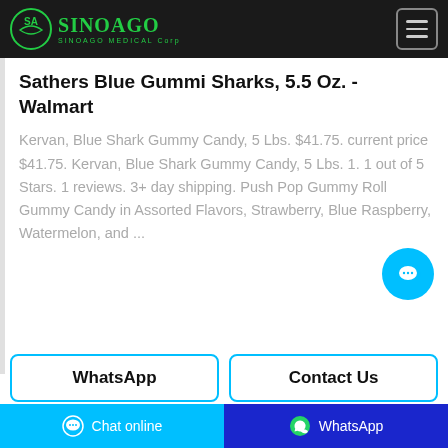SinoAgo MEDICAL Corp
Sathers Blue Gummi Sharks, 5.5 Oz. - Walmart
Kervan, Blue Shark Gummy Candy, 5 Lbs. $41.75. current price $41.75. Kervan, Blue Shark Gummy Candy, 5 Lbs. 1. 1 out of 5 Stars. 1 reviews. 3+ day shipping. Push Pop Gummy Roll Gummy Candy in Assorted Flavors, Strawberry, Blue Raspberry, Watermelon, and ...
WhatsApp
Contact Us
Chat online   WhatsApp